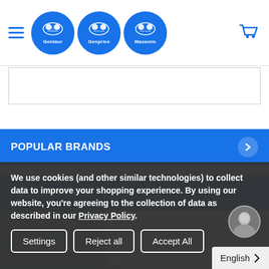[Figure (logo): Gentaur, Genprice, Maxanim logos in blue circles with header navigation and cart icon]
POPULAR BRANDS
RECENT POSTS
[Figure (photo): Laboratory corridor with bright lighting and doors]
We use cookies (and other similar technologies) to collect data to improve your shopping experience. By using our website, you're agreeing to the collection of data as described in our Privacy Policy.
Settings
Reject all
Accept All
English >